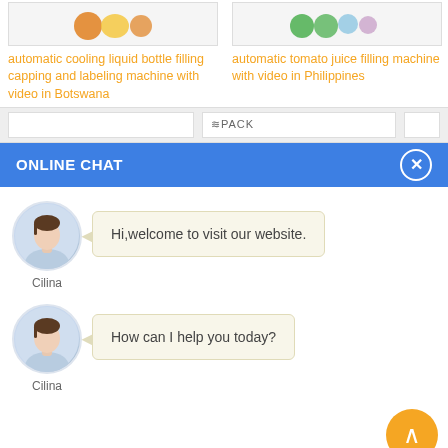automatic cooling liquid bottle filling capping and labeling machine with video in Botswana
automatic tomato juice filling machine with video in Philippines
[Figure (screenshot): Online chat widget showing ONLINE CHAT header with two messages from agent 'Cilina': 'Hi,welcome to visit our website.' and 'How can I help you today?']